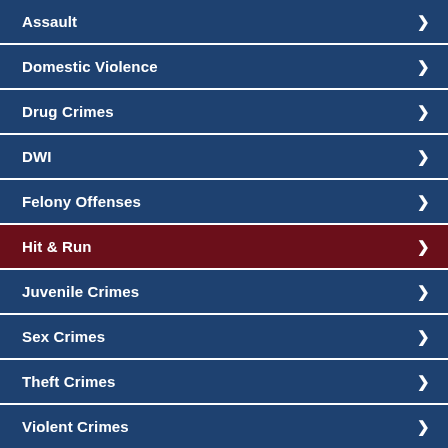Assault
Domestic Violence
Drug Crimes
DWI
Felony Offenses
Hit & Run
Juvenile Crimes
Sex Crimes
Theft Crimes
Violent Crimes